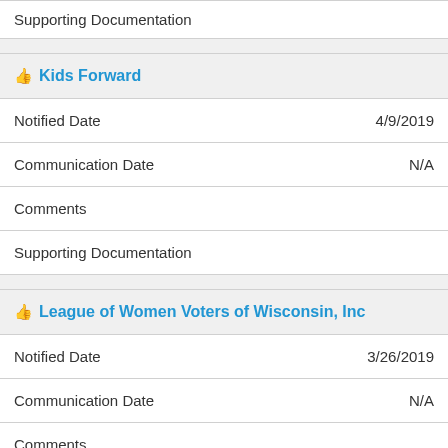Supporting Documentation
👍 Kids Forward
Notified Date   4/9/2019
Communication Date   N/A
Comments
Supporting Documentation
👍 League of Women Voters of Wisconsin, Inc
Notified Date   3/26/2019
Communication Date   N/A
Comments
Supporting Documentation